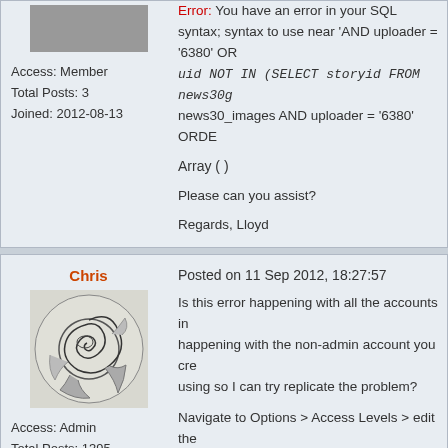Access: Member
Total Posts: 3
Joined: 2012-08-13
Error: You have an error in your SQL syntax; syntax to use near 'AND uploader = '6380' OR uid NOT IN (SELECT storyid FROM news30gr... news30_images AND uploader = '6380' ORDE...
Array ( )
Please can you assist?
Regards, Lloyd
Chris
Posted on 11 Sep 2012, 18:27:57
Is this error happening with all the accounts in... happening with the non-admin account you cre... using so I can try replicate the problem?
Navigate to Options > Access Levels > edit the...
Access: Admin
Total Posts: 1395
Joined: 2006-05-19
MichaelMed
Posted on 18 Jan 2013, 13:01:51
Hello Chris, I'm having same problem. It's not c...